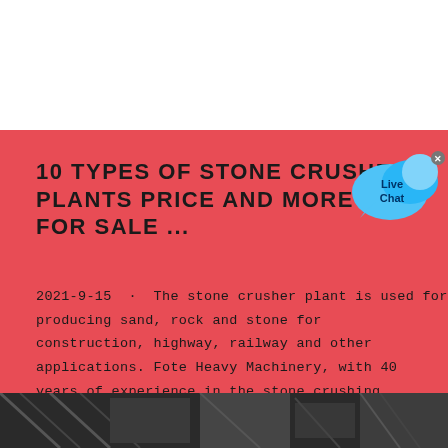10 TYPES OF STONE CRUSHER PLANTS PRICE AND MORE FOR SALE ...
[Figure (illustration): Live Chat speech bubble icon in blue with white text 'Live Chat', with a small close X button]
2021-9-15 · The stone crusher plant is used for producing sand, rock and stone for construction, highway, railway and other applications. Fote Heavy Machinery, with 40 years of experience in the stone crushing production line, is skilled in the production line process design and has a ...
contact us
[Figure (illustration): Red house/building emoji icon in bottom right corner]
[Figure (photo): Partial photo strip at bottom showing stone crusher machinery equipment]